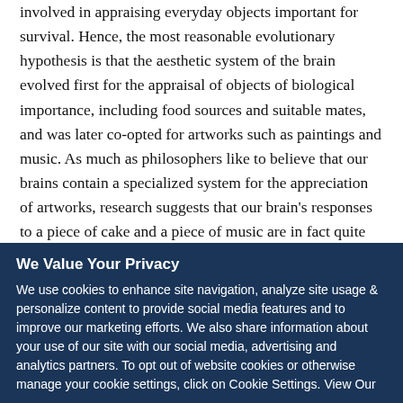involved in appraising everyday objects important for survival. Hence, the most reasonable evolutionary hypothesis is that the aesthetic system of the brain evolved first for the appraisal of objects of biological importance, including food sources and suitable mates, and was later co-opted for artworks such as paintings and music. As much as philosophers like to believe that our brains contain a specialized system for the appreciation of artworks, research suggests that our brain's responses to a piece of cake and a piece of music are in fact quite similar.
Are you a scientist who specializes in neuroscience, cognitive science, or psychology? And have you read a recent peer-
We Value Your Privacy
We use cookies to enhance site navigation, analyze site usage & personalize content to provide social media features and to improve our marketing efforts. We also share information about your use of our site with our social media, advertising and analytics partners. To opt out of website cookies or otherwise manage your cookie settings, click on Cookie Settings. View Our